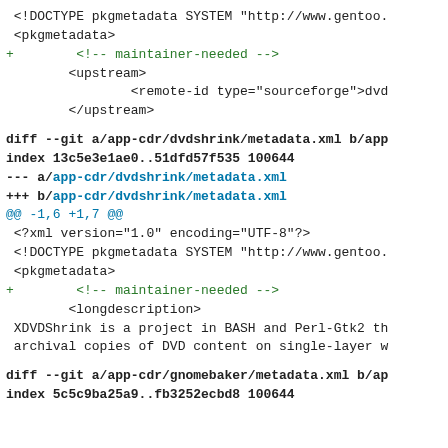<!DOCTYPE pkgmetadata SYSTEM "http://www.gentoo.
<pkgmetadata>
+        <!-- maintainer-needed -->
<upstream>
                <remote-id type="sourceforge">dvd
        </upstream>
diff --git a/app-cdr/dvdshrink/metadata.xml b/app
index 13c5e3e1ae0..51dfd57f535 100644
--- a/app-cdr/dvdshrink/metadata.xml
+++ b/app-cdr/dvdshrink/metadata.xml
@@ -1,6 +1,7 @@
<?xml version="1.0" encoding="UTF-8"?>
 <!DOCTYPE pkgmetadata SYSTEM "http://www.gentoo.
 <pkgmetadata>
+        <!-- maintainer-needed -->
<longdescription>
 XDVDShrink is a project in BASH and Perl-Gtk2 th
 archival copies of DVD content on single-layer w
diff --git a/app-cdr/gnomebaker/metadata.xml b/ap
index 5c5c9ba25a9..fb3252ecbd8 100644